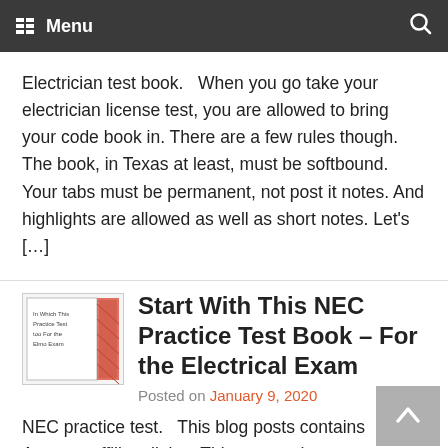Menu
Electrician test book.   When you go take your electrician license test, you are allowed to bring your code book in. There are a few rules though. The book, in Texas at least, must be softbound. Your tabs must be permanent, not post it notes. And highlights are allowed as well as short notes. Let's […]
Start With This NEC Practice Test Book – For the Electrical Exam
Posted on January 9, 2020
NEC practice test.   This blog posts contains Amazon affiliate links.  This means that we earn a